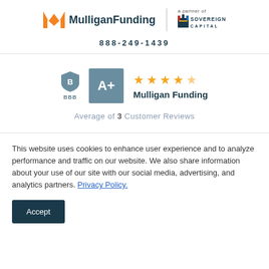[Figure (logo): Mulligan Funding logo with orange M icon and dark teal text, a vertical divider, then 'a partner of SOVEREIGN CAPITAL' with Sovereign Capital logo]
888-249-1439
[Figure (infographic): BBB A+ rating badge with shield icon and teal A+ box, followed by 4.5 star rating and 'Mulligan Funding' company name, and 'Average of 3 Customer Reviews' text below]
This website uses cookies to enhance user experience and to analyze performance and traffic on our website. We also share information about your use of our site with our social media, advertising, and analytics partners. Privacy Policy.
Accept